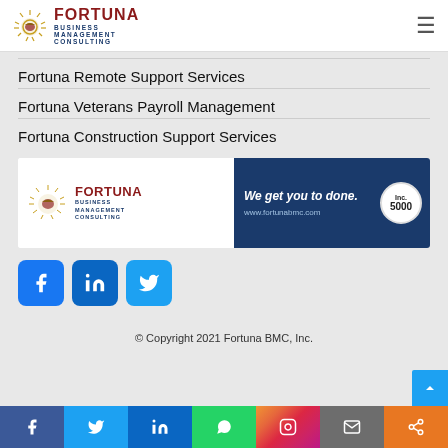FORTUNA BUSINESS MANAGEMENT CONSULTING
Fortuna Remote Support Services
Fortuna Veterans Payroll Management
Fortuna Construction Support Services
[Figure (logo): Fortuna BMC banner ad: logo on white left side, dark blue right side with tagline 'We get you to done.' and URL www.fortunabmc.com, Inc. 5000 badge]
[Figure (infographic): Social media icons: Facebook (dark blue), LinkedIn (blue), Twitter (light blue)]
© Copyright 2021 Fortuna BMC, Inc.
[Figure (infographic): Bottom share bar: Facebook, Twitter, LinkedIn, WhatsApp, Instagram, Email, Share icons]